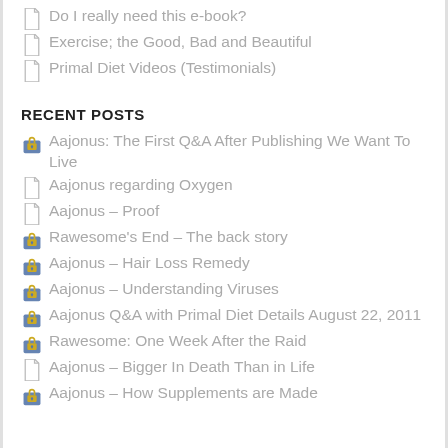Do I really need this e-book?
Exercise; the Good, Bad and Beautiful
Primal Diet Videos (Testimonials)
RECENT POSTS
Aajonus: The First Q&A After Publishing We Want To Live
Aajonus regarding Oxygen
Aajonus – Proof
Rawesome's End – The back story
Aajonus – Hair Loss Remedy
Aajonus – Understanding Viruses
Aajonus Q&A with Primal Diet Details August 22, 2011
Rawesome: One Week After the Raid
Aajonus – Bigger In Death Than in Life
Aajonus – How Supplements are Made